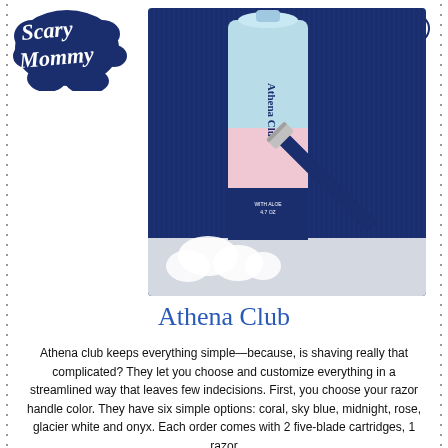Scary Mommy | MENU
[Figure (photo): Product photo of Athena Club shave foam canister (light blue and pink with navy bottom, labeled 'Athena Club' and 'with aloe') alongside a blue razor handle with blade cartridge, set against a dark navy ribbed background with white foam puffs in the foreground.]
Athena Club
Athena club keeps everything simple—because, is shaving really that complicated? They let you choose and customize everything in a streamlined way that leaves few indecisions. First, you choose your razor handle color. They have six simple options: coral, sky blue, midnight, rose, glacier white and onyx. Each order comes with 2 five-blade cartridges, 1 razor